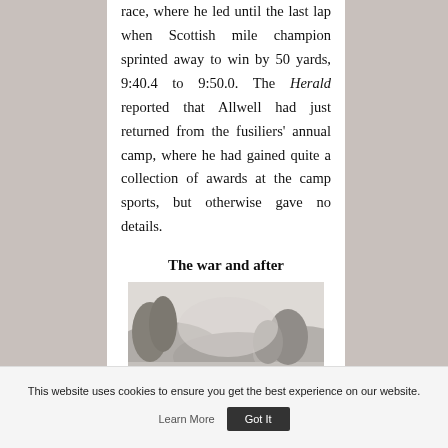race, where he led until the last lap when Scottish mile champion sprinted away to win by 50 yards, 9:40.4 to 9:50.0. The Herald reported that Allwell had just returned from the fusiliers' annual camp, where he had gained quite a collection of awards at the camp sports, but otherwise gave no details.
The war and after
[Figure (photo): A black and white photograph showing trees and landscape, partially visible at bottom of page.]
This website uses cookies to ensure you get the best experience on our website.